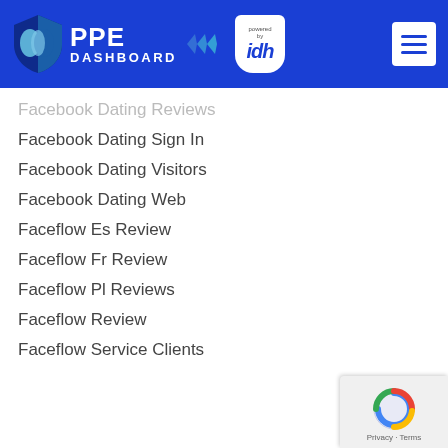PPE DASHBOARD powered by idh
Facebook Dating Reviews
Facebook Dating Sign In
Facebook Dating Visitors
Facebook Dating Web
Faceflow Es Review
Faceflow Fr Review
Faceflow Pl Reviews
Faceflow Review
Faceflow Service Clients